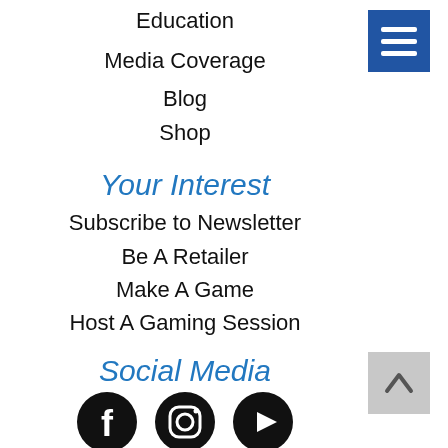Education
Media Coverage
Blog
Shop
Your Interest
Subscribe to Newsletter
Be A Retailer
Make A Game
Host A Gaming Session
Social Media
[Figure (illustration): Three social media icons: Facebook, Instagram, YouTube — black circles with white logos]